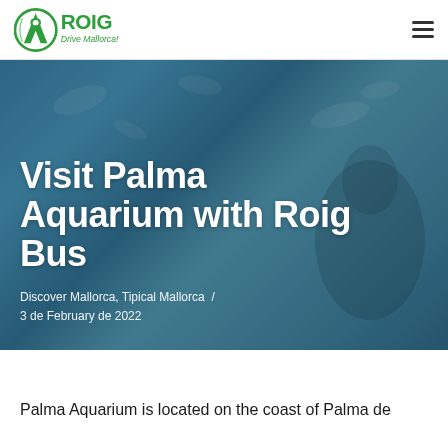[Figure (logo): Roig Drive Mallorca logo — green circular arrow icon with ROIG text and 'Drive Mallorca!' tagline]
Visit Palma Aquarium with Roig Bus
Discover Mallorca, Tipical Mallorca  /  3 de February de 2022
[Figure (photo): Hero background photo showing an underwater scene with fish and a person photographing through a camera, tinted blue/teal]
Palma Aquarium is located on the coast of Palma de